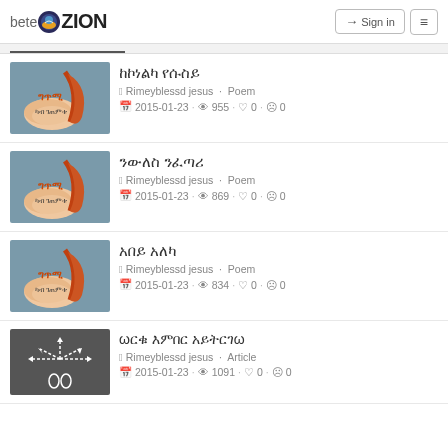beteZION — Sign in menu
ከኮነልካ የሱስይ — Rimeyblessd jesus · Poem — 2015-01-23 · 955 · 0 · 0
ንውለስ ንፈጣሪ — Rimeyblessd jesus · Poem — 2015-01-23 · 869 · 0 · 0
አበይ አለካ — Rimeyblessd jesus · Poem — 2015-01-23 · 834 · 0 · 0
ωርቁ እምበር አይትርገω — Rimeyblessd jesus · Article — 2015-01-23 · 1091 · 0 · 0